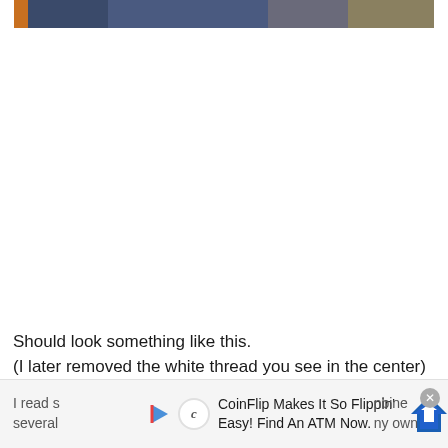[Figure (photo): Partial photo of denim fabric with orange bar on left edge, showing blue denim texture and brownish/golden fabric in background]
Should look something like this.
(I later removed the white thread you see in the center)
Now for the fun part!
Distressing your Denim
I read s... nbine several... ny own
[Figure (other): Advertisement banner: CoinFlip Makes It So Flippin' Easy! Find An ATM Now. with play button icon, coin icon, and directional arrow sign]